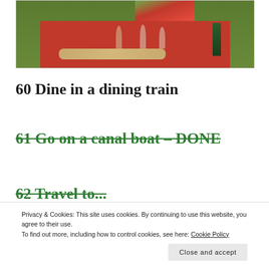[Figure (photo): Picnic scene on red blanket with wine glasses, bread/baguette, cheese, and a wine bottle on green grass]
60 Dine in a dining train
61 Go on a canal boat – DONE
62 Travel to...
Privacy & Cookies: This site uses cookies. By continuing to use this website, you agree to their use.
To find out more, including how to control cookies, see here: Cookie Policy
Close and accept